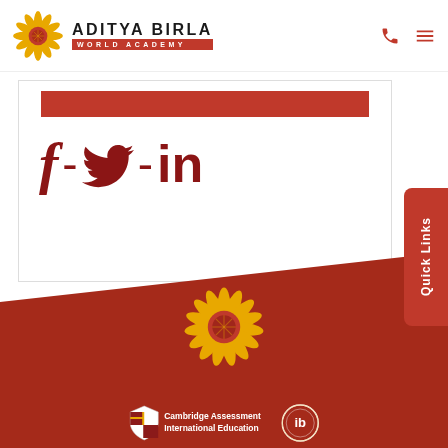[Figure (logo): Aditya Birla World Academy logo with sunflower emblem and text]
[Figure (illustration): Red decorative bar]
[Figure (illustration): Social media icons: Facebook (f), Twitter (bird), LinkedIn (in) in dark red, separated by dashes]
Quick Links
[Figure (logo): Aditya Birla sunflower logo in gold/yellow on dark red background in footer]
[Figure (logo): Cambridge Assessment International Education logo and IB logo in footer]